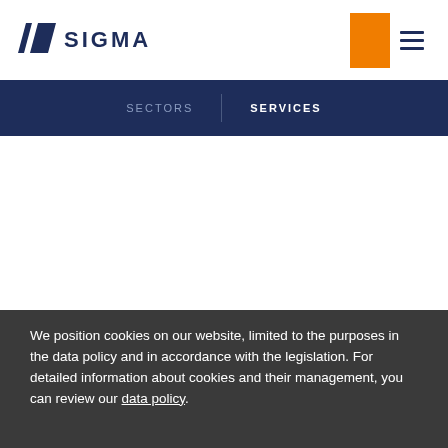[Figure (logo): Sigma company logo with stylized 'S' icon in dark navy and text 'SIGMA' in navy letters]
SECTORS | SERVICES
We position cookies on our website, limited to the purposes in the data policy and in accordance with the legislation. For detailed information about cookies and their management, you can review our data policy.